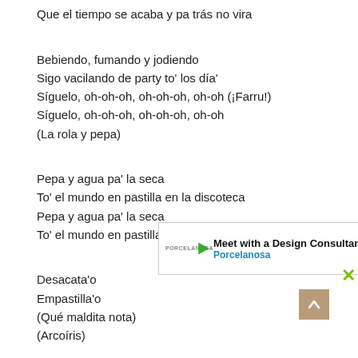Que el tiempo se acaba y pa trás no vira
Bebiendo, fumando y jodiendo
Sigo vacilando de party to' los día'
Síguelo, oh-oh-oh, oh-oh-oh, oh-oh (¡Farru!)
Síguelo, oh-oh-oh, oh-oh-oh, oh-oh
(La rola y pepa)
Pepa y agua pa' la seca
To' el mundo en pastilla en la discoteca
Pepa y agua pa' la seca
To' el mundo en pastilla en la discoteca
Desacata'o
Empastilla'o
(Qué maldita nota)
(Arcoíris)
¡Fa-
Dim-
The Most Winning
[Figure (other): Advertisement banner for Porcelanosa - Meet with a Design Consultant]